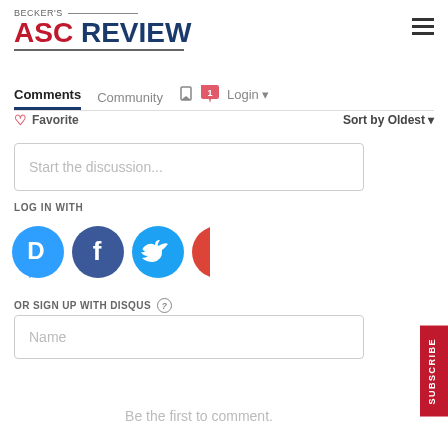BECKER'S ASC REVIEW
Comments   Community   Login
Favorite   Sort by Oldest
Start the discussion...
LOG IN WITH
[Figure (infographic): Social login icons: Disqus (blue D), Facebook (dark blue f), Twitter (light blue bird), Google (red G)]
OR SIGN UP WITH DISQUS ?
Name
Be the first to comment.